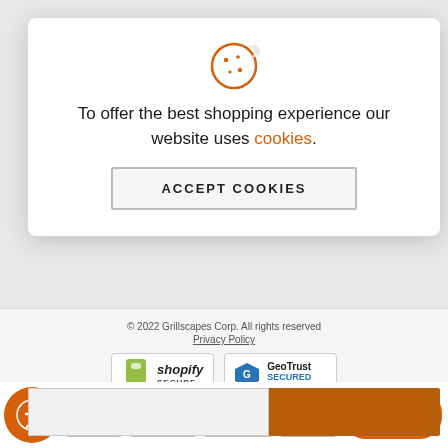[Figure (illustration): Cookie icon in orange outline style]
To offer the best shopping experience our website uses cookies.
ACCEPT COOKIES
© 2022 Grillscapes Corp. All rights reserved
Privacy Policy
[Figure (logo): Shopify Secure badge]
[Figure (logo): GeoTrust Secured powered by digicert badge]
[Figure (logo): Payment method icons: Apple Pay, Visa, Discover, American Express]
Chat With Grillscapes